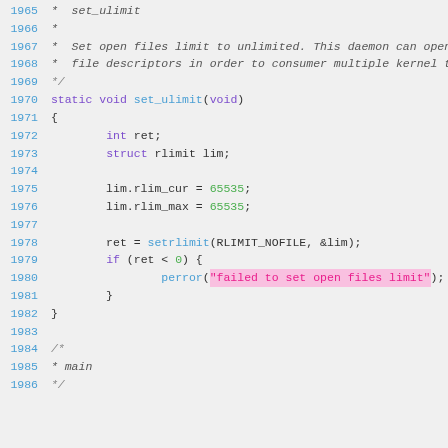Source code listing lines 1965-1986, C function set_ulimit with comments, implementation showing rlimit struct usage and setrlimit syscall.